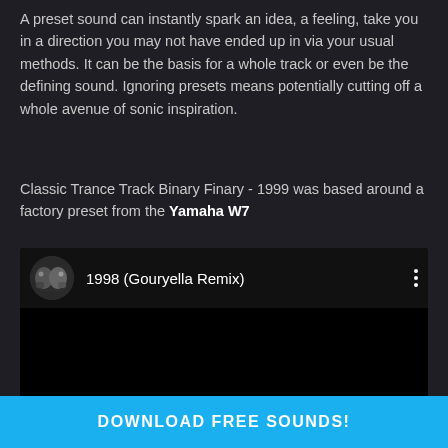A preset sound can instantly spark an idea, a feeling, take you in a direction you may not have ended up in via your usual methods. It can be the basis for a whole track or even be the defining sound. Ignoring presets means potentially cutting off a whole avenue of sonic inspiration.
Classic Trance Track Binary Finary - 1999 was based around a factory preset from the Yamaha W7
[Figure (screenshot): YouTube video embed showing '1998 (Gouryella Remix)' with a circular avatar thumbnail of two people on the left, the video title in white text, three vertical dots menu icon on the right, and a black video player area below.]
DOWNLOAD FREE SOUNDS!